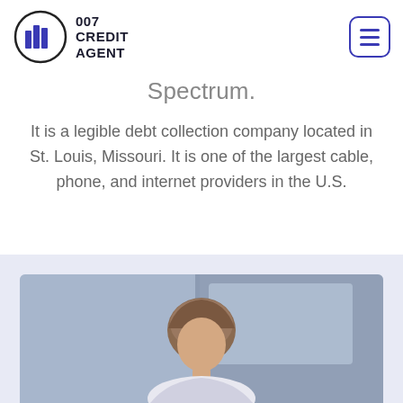007 CREDIT AGENT
Spectrum.
It is a legible debt collection company located in St. Louis, Missouri. It is one of the largest cable, phone, and internet providers in the U.S.
[Figure (photo): Photo of a person in a professional office setting, blurred background, partially visible from the head/shoulders up]